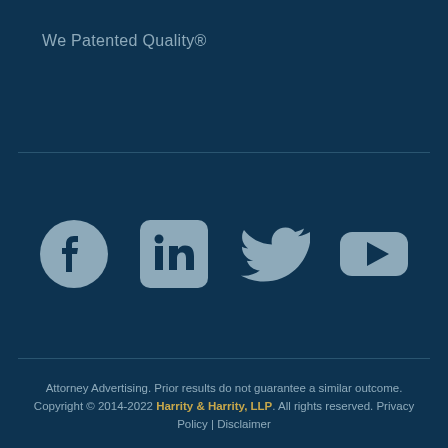We Patented Quality®
[Figure (illustration): Social media icons: Facebook (circle with f), LinkedIn (rounded square with 'in'), Twitter (bird silhouette), YouTube (rounded rectangle with play triangle) — all in muted grey-blue on dark navy background]
Attorney Advertising. Prior results do not guarantee a similar outcome. Copyright © 2014-2022 Harrity & Harrity, LLP. All rights reserved. Privacy Policy | Disclaimer